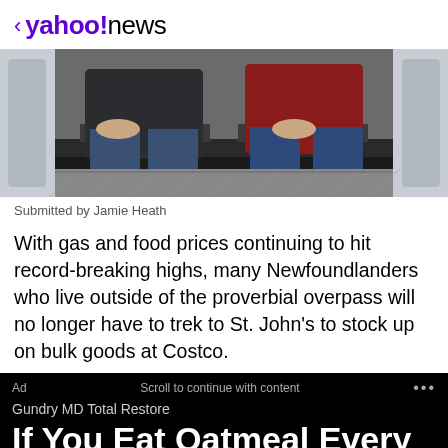< yahoo!news
[Figure (photo): Two people sitting side by side on the back step of a vehicle, both wearing jeans. Left person in dark jacket, right person in red jacket. Outdoor setting.]
Submitted by Jamie Heath
With gas and food prices continuing to hit record-breaking highs, many Newfoundlanders who live outside of the proverbial overpass will no longer have to trek to St. John's to stock up on bulk goods at Costco.
Ad   Scroll to continue with content   ...
Gundry MD Total Restore
If You Eat Oatmeal Every Day, This Is What